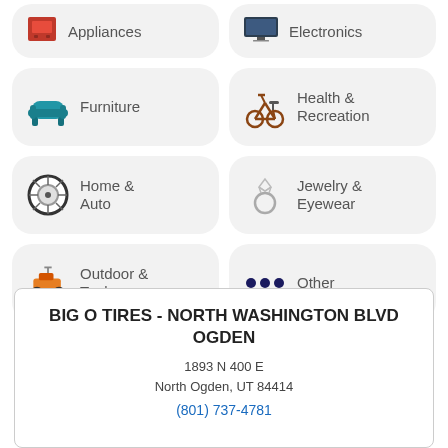Appliances
Electronics
Furniture
Health & Recreation
Home & Auto
Jewelry & Eyewear
Outdoor & Tools
Other
BIG O TIRES - NORTH WASHINGTON BLVD OGDEN
1893 N 400 E
North Ogden, UT 84414
(801) 737-4781